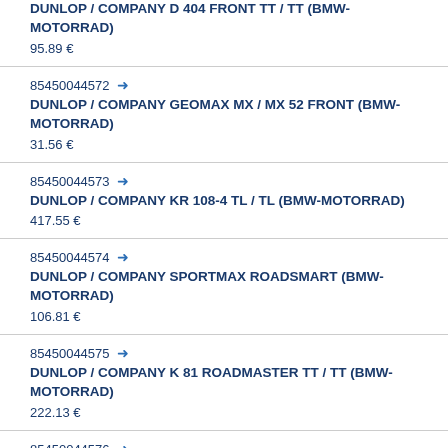DUNLOP / COMPANY D 404 FRONT TT / TT (BMW-MOTORRAD)
95.89 €
85450044572 → DUNLOP / COMPANY GEOMAX MX / MX 52 FRONT (BMW-MOTORRAD)
31.56 €
85450044573 → DUNLOP / COMPANY KR 108-4 TL / TL (BMW-MOTORRAD)
417.55 €
85450044574 → DUNLOP / COMPANY SPORTMAX ROADSMART (BMW-MOTORRAD)
106.81 €
85450044575 → DUNLOP / COMPANY K 81 ROADMASTER TT / TT (BMW-MOTORRAD)
222.13 €
85450044576 →